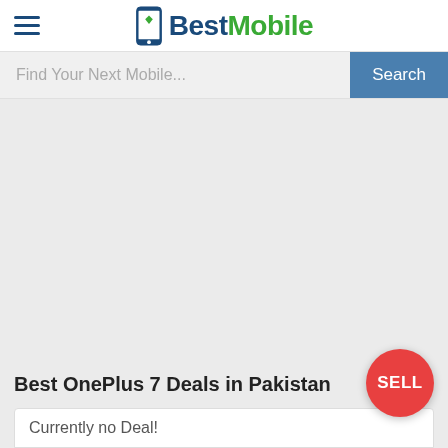BestMobile
Find Your Next Mobile...
Best OnePlus 7 Deals in Pakistan
Currently no Deal!